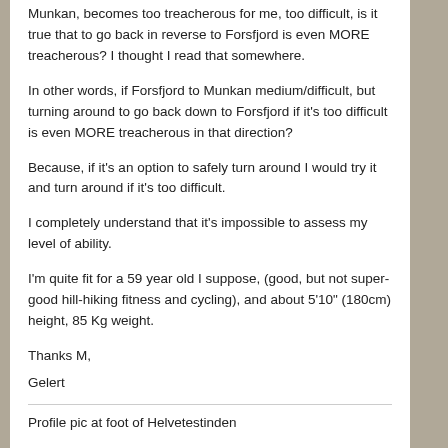Munkan, becomes too treacherous for me, too difficult, is it true that to go back in reverse to Forsfjord is even MORE treacherous? I thought I read that somewhere.
In other words, if Forsfjord to Munkan medium/difficult, but turning around to go back down to Forsfjord if it's too difficult is even MORE treacherous in that direction?
Because, if it's an option to safely turn around I would try it and turn around if it's too difficult.
I completely understand that it's impossible to assess my level of ability.
I'm quite fit for a 59 year old I suppose, (good, but not super-good hill-hiking fitness and cycling), and about 5'10" (180cm) height, 85 Kg weight.
Thanks M,
Gelert
Profile pic at foot of Helvetestinden